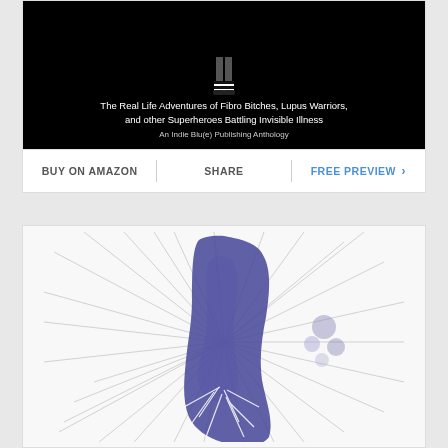[Figure (illustration): Book cover with black background showing a figure from waist down wearing striped socks, with text: 'The Real Life Adventures of Fibro Bitches, Lupus Warriors, and other Superheroes Battling Invisible Illness. An Indie Blu(e) Publishing Anthology']
BUY ON AMAZON | SHARE | FREE PREVIEW ›
[Figure (illustration): Abstract watercolor and ink artwork featuring a large dark blue/purple ink blot in the center with radiating fine lines spreading outward, with smaller purple ink drops to the right, on a white background.]